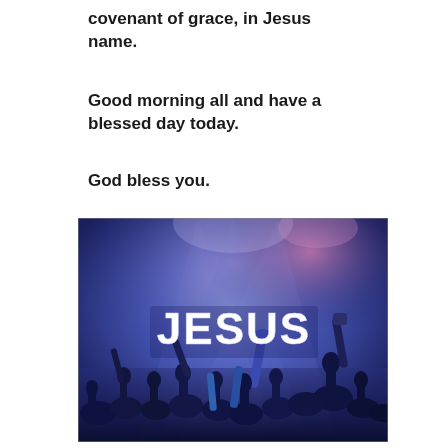covenant of grace, in Jesus name.
Good morning all and have a blessed day today.
God bless you.
[Figure (photo): Concert crowd with hands raised under blue stage lighting, with large bold white text 'JESUS' overlaid in the center of the image]